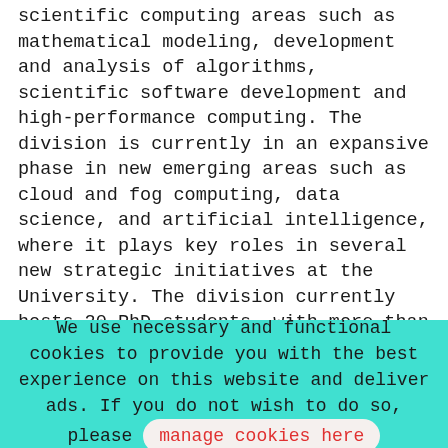scientific computing areas such as mathematical modeling, development and analysis of algorithms, scientific software development and high-performance computing. The division is currently in an expansive phase in new emerging areas such as cloud and fog computing, data science, and artificial intelligence, where it plays key roles in several new strategic initiatives at the University. The division currently hosts 20 PhD students, with more than 80 doctorates awarded. Several PhD alumni from the division are successful practitioners in the field of scientific computing and related areas, in industry as well as in academia.
We use necessary and functional cookies to provide you with the best experience on this website and deliver ads. If you do not wish to do so, please manage cookies here